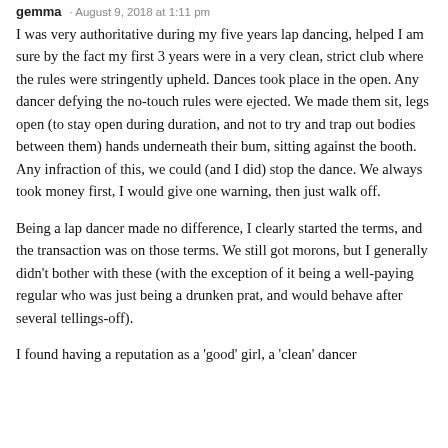gemma · August 9, 2018 at 1:11 pm
I was very authoritative during my five years lap dancing, helped I am sure by the fact my first 3 years were in a very clean, strict club where the rules were stringently upheld. Dances took place in the open. Any dancer defying the no-touch rules were ejected. We made them sit, legs open (to stay open during duration, and not to try and trap out bodies between them) hands underneath their bum, sitting against the booth. Any infraction of this, we could (and I did) stop the dance. We always took money first, I would give one warning, then just walk off.
Being a lap dancer made no difference, I clearly started the terms, and the transaction was on those terms. We still got morons, but I generally didn't bother with these (with the exception of it being a well-paying regular who was just being a drunken prat, and would behave after several tellings-off).
I found having a reputation as a 'good' girl, a 'clean' dancer